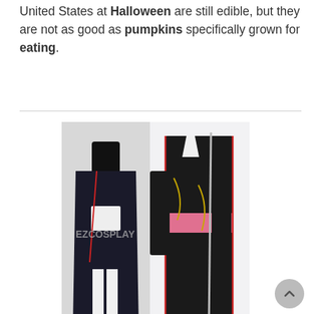United States at Halloween are still edible, but they are not as good as pumpkins specifically grown for eating.
[Figure (photo): Anime cosplay costume product photo showing character artwork and actual costume for Machine-Doll wa Kizutsukanai Yaya, black kimono style with red accents, priced at $127.99 (was $108)]
$108 $127.99
Ezcosplay
This website uses cookies to ensure you get the best experience on our website. Learn more
Machine-Doll wa Kizutsukanai Yaya Cosplay Costume
Got it!